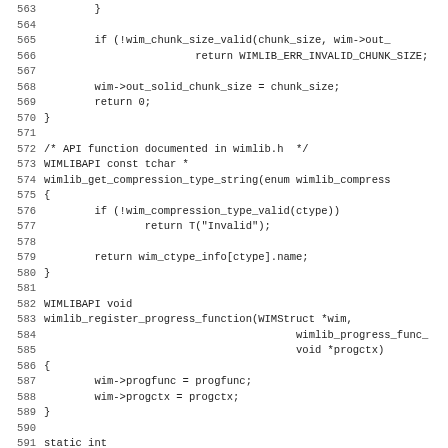Source code listing lines 563-595, C language, showing wimlib API functions including wim_chunk_size_valid, wimlib_get_compression_type_string, wimlib_register_progress_function, and open_wim_file.